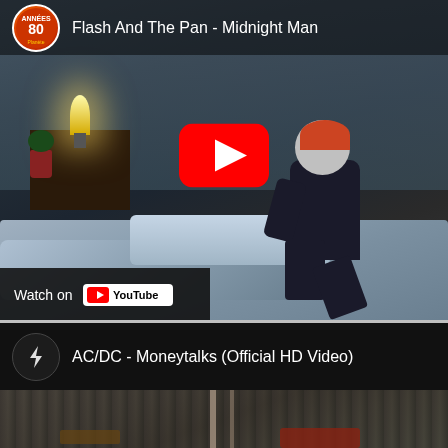[Figure (screenshot): YouTube video thumbnail for 'Flash And The Pan - Midnight Man' showing a dark bedroom scene with a figure sitting on a bed, a lamp on a nightstand, and a red YouTube play button in the center. Top bar shows Années 80 channel icon and video title. Bottom has 'Watch on YouTube' overlay bar.]
[Figure (screenshot): YouTube video card for 'AC/DC - Moneytalks (Official HD Video)' showing AC/DC lightning bolt channel icon and partial thumbnail of a crowd/concert scene at the bottom.]